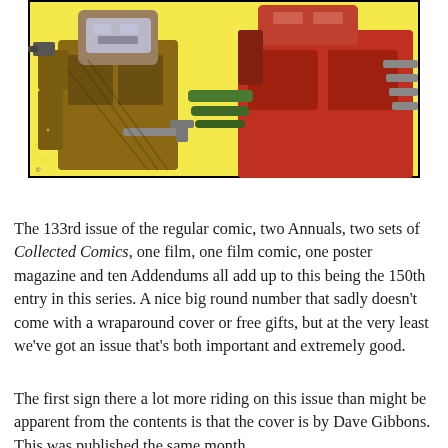[Figure (illustration): Comic book art showing two large robot/mech characters (Transformers). The left robot has a grey face with angular features and is holding a wrench or tool. The right robot is red/orange with mechanical details. Background is yellow. The image has a black border.]
The 133rd issue of the regular comic, two Annuals, two sets of Collected Comics, one film, one film comic, one poster magazine and ten Addendums all add up to this being the 150th entry in this series. A nice big round number that sadly doesn't come with a wraparound cover or free gifts, but at the very least we've got an issue that's both important and extremely good.
The first sign there a lot more riding on this issue than might be apparent from the contents is that the cover is by Dave Gibbons. This was published the same month